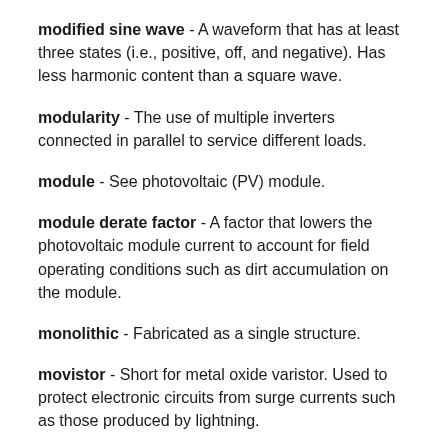modified sine wave - A waveform that has at least three states (i.e., positive, off, and negative). Has less harmonic content than a square wave.
modularity - The use of multiple inverters connected in parallel to service different loads.
module - See photovoltaic (PV) module.
module derate factor - A factor that lowers the photovoltaic module current to account for field operating conditions such as dirt accumulation on the module.
monolithic - Fabricated as a single structure.
movistor - Short for metal oxide varistor. Used to protect electronic circuits from surge currents such as those produced by lightning.
multicrystalline - (photovoltaic)